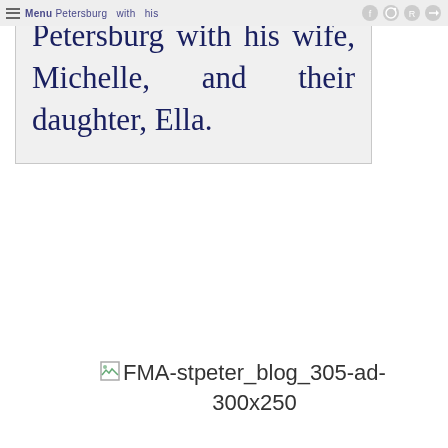Menu Petersburg with his
wife, Michelle, and their daughter, Ella.
[Figure (other): Broken image placeholder labeled FMA-stpeter_blog_305-ad-300x250]